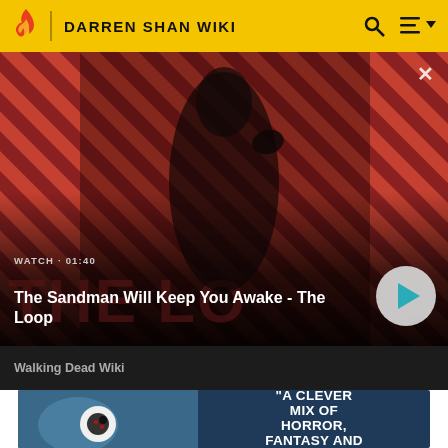DARREN SHAN WIKI
[Figure (screenshot): Video thumbnail showing a pale dark-haired figure in a black coat with a crow/raven on shoulder, set against a red and black diagonal stripe background. Shows 'THE LOOP' text overlaid.]
WATCH · 01:40
The Sandman Will Keep You Awake - The Loop
Walking Dead Wiki
[Figure (photo): Promo image with a doll/puppet character on left and text reading: "A CLEVER MIX OF HORROR, FANTASY AND" on the right side.]